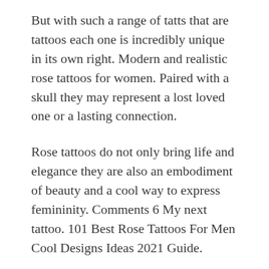But with such a range of tatts that are tattoos each one is incredibly unique in its own right. Modern and realistic rose tattoos for women. Paired with a skull they may represent a lost loved one or a lasting connection.
Rose tattoos do not only bring life and elegance they are also an embodiment of beauty and a cool way to express femininity. Comments 6 My next tattoo. 101 Best Rose Tattoos For Men Cool Designs Ideas 2021 Guide.
See more ideas about rose tattoos tattoos thorn tattoo. When you look at the compilation of